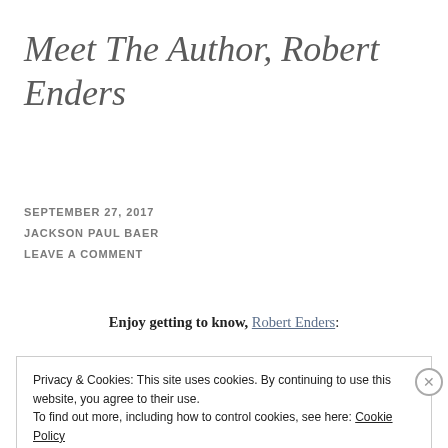Meet The Author, Robert Enders
SEPTEMBER 27, 2017
JACKSON PAUL BAER
LEAVE A COMMENT
Enjoy getting to know, Robert Enders:
Privacy & Cookies: This site uses cookies. By continuing to use this website, you agree to their use.
To find out more, including how to control cookies, see here: Cookie Policy
Close and accept